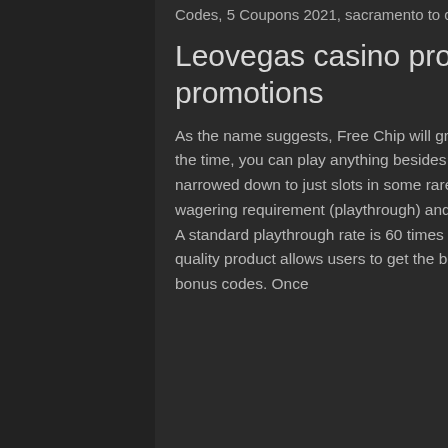Codes, 5 Coupons 2021, sacramento to colusa casino bus.
Leovegas casino promotions, leovegas casino promotions
As the name suggests, Free Chip will grant you basically free money to play everything allowed. Most of the time, you can play anything besides lotteries or some specialty games; however, the choice is narrowed down to just slots in some rare cases. Free Chip is subjected to terms and conditions, such as wagering requirement (playthrough) and wagering contribution, leo vegas casino no deposit bonus codes. A standard playthrough rate is 60 times the total bonus amount since this bonus requires no deposit. Their quality product allows users to get the best min deposit casino experience, leo vegas casino no deposit bonus codes. Once